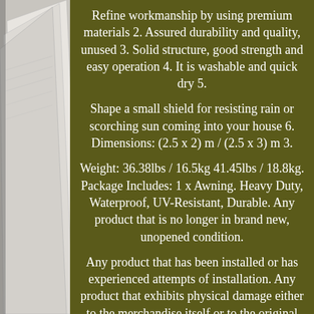[Figure (illustration): Partially visible folded paper or document pages fanning out on the left side of the image, shown in light grey tones against a light background.]
Refine workmanship by using premium materials 2. Assured durability and quality, unused 3. Solid structure, good strength and easy operation 4. It is washable and quick dry 5.
Shape a small shield for resisting rain or scorching sun coming into your house 6. Dimensions: (2.5 x 2) m / (2.5 x 3) m 3.
Weight: 36.38lbs / 16.5kg 41.45lbs / 18.8kg. Package Includes: 1 x Awning. Heavy Duty, Waterproof, UV-Resistant, Durable. Any product that is no longer in brand new, unopened condition.
Any product that has been installed or has experienced attempts of installation. Any product that exhibits physical damage either to the merchandise itself or to the original packing materials and accessories within the product packaging. Any product with a missing or altered serial number. And P&P will be charged for the